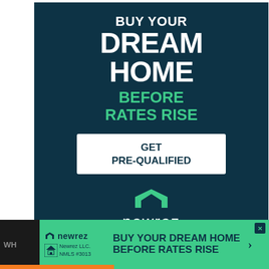[Figure (illustration): Newrez mortgage advertisement banner on dark navy background. Large text reads 'BUY YOUR DREAM HOME BEFORE RATES RISE' with a white 'GET PRE-QUALIFIED' call-to-action button. Newrez logo with house icon and equal housing lender mark. Bottom: Newrez LLC. NMLS #3013.]
[Figure (illustration): Sticky bottom banner ad for Newrez. Green background with Newrez logo on left, text 'BUY YOUR DREAM HOME BEFORE RATES RISE' and right-pointing arrow. Close X button in top right.]